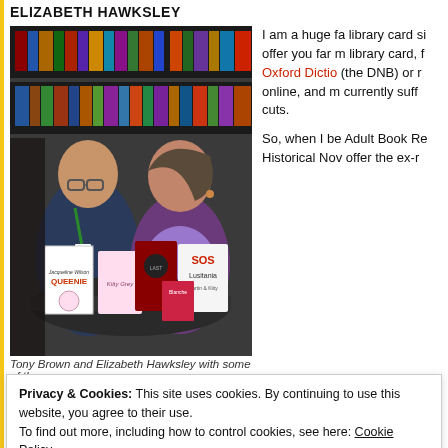ELIZABETH HAWKSLEY
[Figure (photo): Tony Brown and Elizabeth Hawksley sitting at a round table in a library, with several books displayed in front of them including Jacqueline Wilson Queenie, Kitty Grey, SOS Lusitania, and others. Bookshelves visible in background.]
Tony Brown and Elizabeth Hawksley with some of the
I am a huge fa library card si offer you far m library card, f Oxford Dictio (the DNB) or r online, and m currently suff cuts.
So, when I be Adult Book Re Historical Nov offer the ex-r
Privacy & Cookies: This site uses cookies. By continuing to use this website, you agree to their use. To find out more, including how to control cookies, see here: Cookie Policy
Close and accept